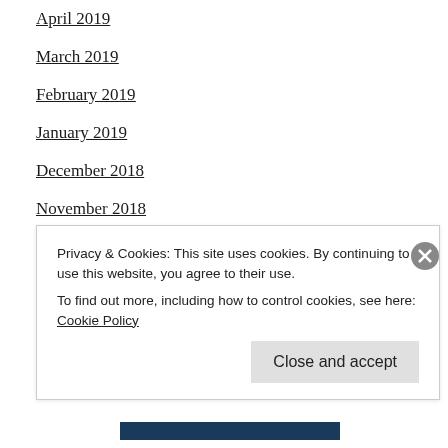April 2019
March 2019
February 2019
January 2019
December 2018
November 2018
October 2018
September 2018
August 2018
July 2018
June 2018
Privacy & Cookies: This site uses cookies. By continuing to use this website, you agree to their use.
To find out more, including how to control cookies, see here: Cookie Policy
Close and accept